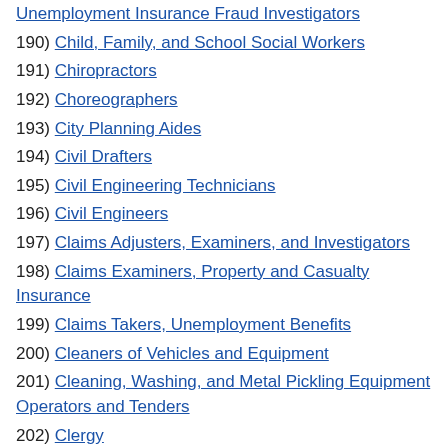Unemployment Insurance Fraud Investigators
190) Child, Family, and School Social Workers
191) Chiropractors
192) Choreographers
193) City Planning Aides
194) Civil Drafters
195) Civil Engineering Technicians
196) Civil Engineers
197) Claims Adjusters, Examiners, and Investigators
198) Claims Examiners, Property and Casualty Insurance
199) Claims Takers, Unemployment Benefits
200) Cleaners of Vehicles and Equipment
201) Cleaning, Washing, and Metal Pickling Equipment Operators and Tenders
202) Clergy
203) Climate Change Analysts *** New ***